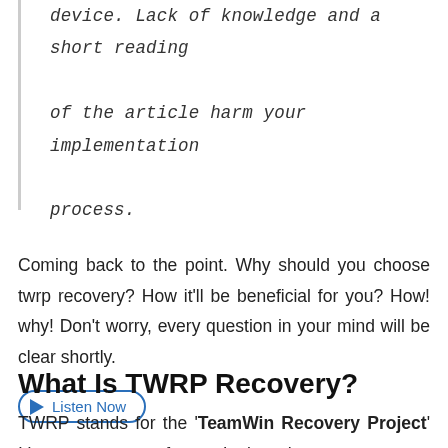device. Lack of knowledge and a short reading of the article harm your implementation process.
Coming back to the point. Why should you choose twrp recovery? How it'll be beneficial for you? How! why! Don't worry, every question in your mind will be clear shortly.
[Figure (other): Listen Now button with play icon, oval border in blue]
What Is TWRP Recovery?
TWRP stands for the 'TeamWin Recovery Project'. It's open-source software. It gives the